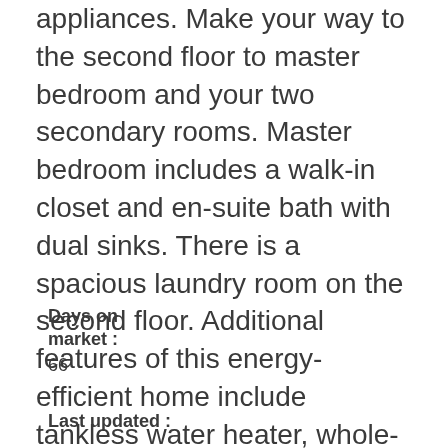appliances. Make your way to the second floor to master bedroom and your two secondary rooms. Master bedroom includes a walk-in closet and en-suite bath with dual sinks. There is a spacious laundry room on the second floor. Additional features of this energy-efficient home include tankless water heater, whole-house fan, and smart thermostat. This gated community will also include a dog park, tot-lot, recreational area and covered picnic area. You can personalize this home for a limited time only, but don't delay. Images are of model home and used for representational purposes only.
Days on market :
66
Last updated :